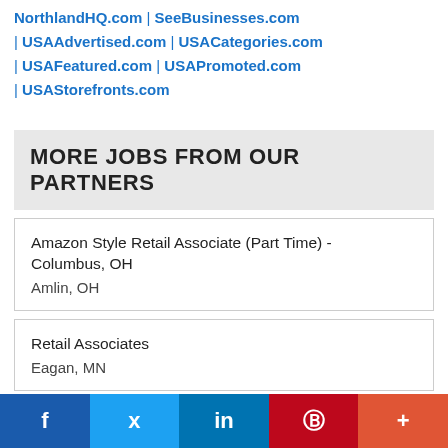NorthlandHQ.com | SeeBusinesses.com | USAAdvertised.com | USACategories.com | USAFeatured.com | USAPromoted.com | USAStorefronts.com
MORE JOBS FROM OUR PARTNERS
Amazon Style Retail Associate (Part Time) - Columbus, OH
Amlin, OH
Retail Associates
Eagan, MN
Retail Associates
Aurora, CO
f  Twitter  in  Pinterest  +